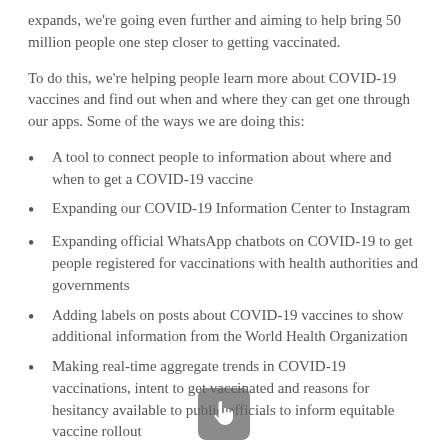expands, we're going even further and aiming to help bring 50 million people one step closer to getting vaccinated.
To do this, we're helping people learn more about COVID-19 vaccines and find out when and where they can get one through our apps. Some of the ways we are doing this:
A tool to connect people to information about where and when to get a COVID-19 vaccine
Expanding our COVID-19 Information Center to Instagram
Expanding official WhatsApp chatbots on COVID-19 to get people registered for vaccinations with health authorities and governments
Adding labels on posts about COVID-19 vaccines to show additional information from the World Health Organization
Making real-time aggregate trends in COVID-19 vaccinations, intent to get vaccinated and reasons for hesitancy available to public officials to inform equitable vaccine rollout